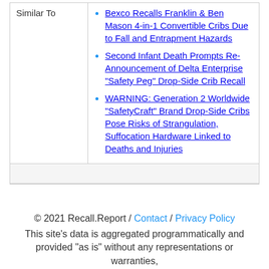Bexco Recalls Franklin & Ben Mason 4-in-1 Convertible Cribs Due to Fall and Entrapment Hazards
Second Infant Death Prompts Re-Announcement of Delta Enterprise "Safety Peg" Drop-Side Crib Recall
WARNING: Generation 2 Worldwide "SafetyCraft" Brand Drop-Side Cribs Pose Risks of Strangulation, Suffocation Hardware Linked to Deaths and Injuries
© 2021 Recall.Report / Contact / Privacy Policy
This site's data is aggregated programmatically and provided "as is" without any representations or warranties,